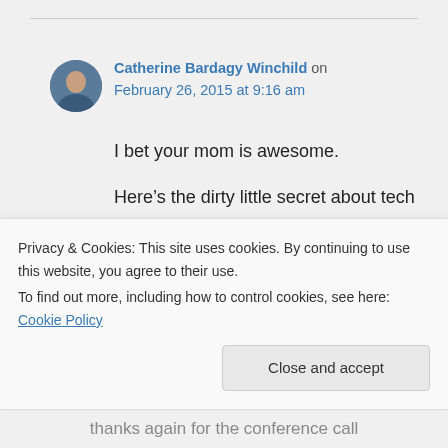Catherine Bardagy Winchild on February 26, 2015 at 9:16 am
I bet your mom is awesome.

Here’s the dirty little secret about tech writing: you write about how things are supposed to work in a perfect world. It is somewhat dreamy. Customer support? That’s
Privacy & Cookies: This site uses cookies. By continuing to use this website, you agree to their use.
To find out more, including how to control cookies, see here: Cookie Policy
Close and accept
thanks again for the conference call